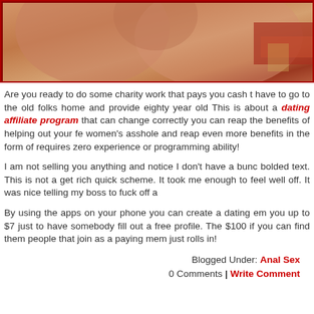[Figure (photo): Close-up photo of human skin/body parts with warm skin tones, partial red fabric visible on right side, dark border]
Are you ready to do some charity work that pays you cash t have to go to the old folks home and provide eighty year old This is about a dating affiliate program that can change correctly you can reap the benefits of helping out your fe women's asshole and reap even more benefits in the form of requires zero experience or programming ability!
I am not selling you anything and notice I don't have a bunc bolded text. This is not a get rich quick scheme. It took me enough to feel well off. It was nice telling my boss to fuck off a
By using the apps on your phone you can create a dating em you up to $7 just to have somebody fill out a free profile. The $100 if you can find them people that join as a paying mem just rolls in!
Blogged Under: Anal Sex
0 Comments | Write Comment